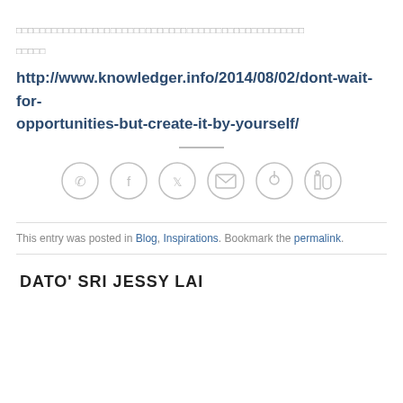[non-Latin script text line 1]
[non-Latin script text line 2]
http://www.knowledger.info/2014/08/02/dont-wait-for-opportunities-but-create-it-by-yourself/
[Figure (infographic): Row of 6 social sharing icons (WhatsApp, Facebook, Twitter, Email, Pinterest, LinkedIn) as grey outlined circles]
This entry was posted in Blog, Inspirations. Bookmark the permalink.
DATO' SRI JESSY LAI
← Shortcode ... | Memento Dato' Sri Jessy Lai →